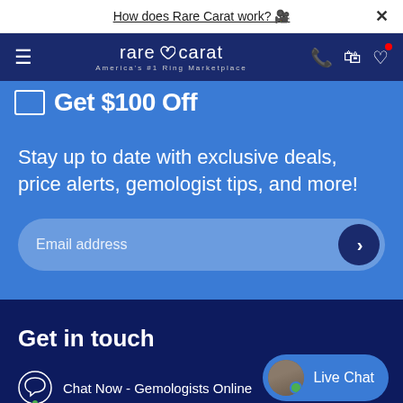How does Rare Carat work? 🎥
[Figure (logo): Rare Carat logo — America's #1 Ring Marketplace — on dark navy navigation bar with hamburger menu, phone, bag, and heart icons]
Get $100 Off
Stay up to date with exclusive deals, price alerts, gemologist tips, and more!
Email address
Get in touch
Chat Now - Gemologists Online